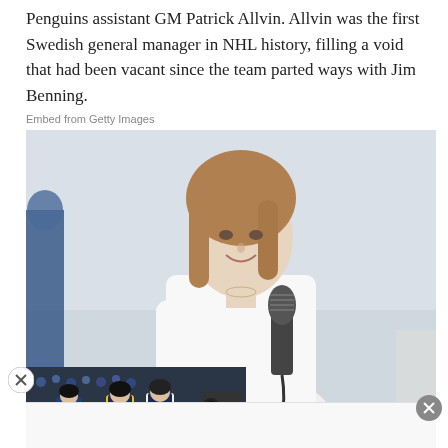Penguins assistant GM Patrick Allvin. Allvin was the first Swedish general manager in NHL history, filling a void that had been vacant since the team parted ways with Jim Benning.
Embed from Getty Images
[Figure (photo): A woman with shoulder-length brown hair, wearing a white short-sleeve shirt, holding a microphone and smiling. Shot outdoors with a bright, blurred background. A partially visible person in blue is at the far left edge.]
[Figure (photo): Thumbnail overlay strip showing hockey players in yellow and white jerseys on the ice, with crowds visible in the background.]